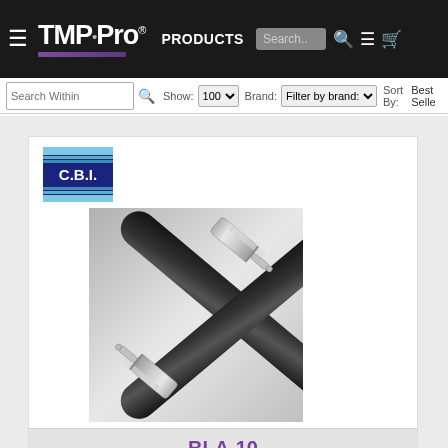TMP Pro - PRODUCTS
Search Within | Show: 100 | Brand: Filter by brand: | Sort By: Best Seller
[Figure (logo): C.B.I. brand logo with horizontal blue stripes and dark blue background]
[Figure (photo): Two black audio cables with silver 1/4 inch TRS connectors crossed over each other on white background]
BLA-10
CBI BLA-10